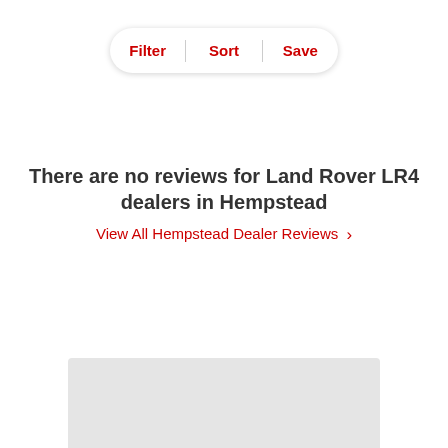[Figure (screenshot): Filter, Sort, Save pill-shaped toolbar with red text labels and vertical dividers]
There are no reviews for Land Rover LR4 dealers in Hempstead
View All Hempstead Dealer Reviews >
[Figure (map): Light grey map placeholder area at the bottom of the page]